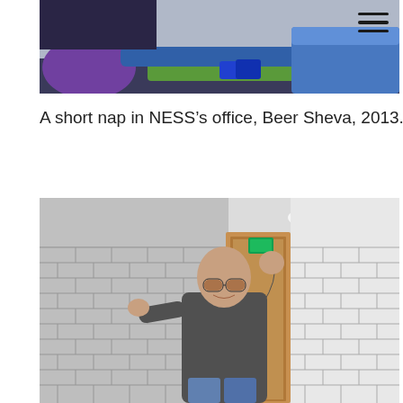[Figure (photo): Top portion of a photo showing a person napping in a colorful office space with purple and green furniture, blue clothing visible, taken at NESS office in Beer Sheva, 2013. A hamburger menu icon is visible in the top right corner.]
A short nap in NESS’s office, Beer Sheva, 2013.
[Figure (photo): A bald man wearing glasses and a dark grey long-sleeve shirt stands in front of a wavy/curved brick wall making an OK gesture with his right hand. The wall has a white tile section on the right. A wooden door frame is visible behind him. The ceiling has recessed lighting.]